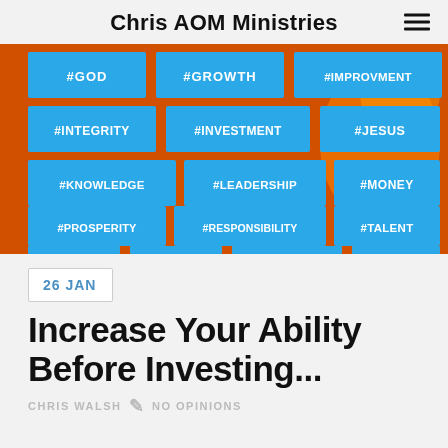Chris AOM Ministries
[Figure (illustration): Brick wall background (orange/red) with blue hashtag tiles: #GOD, #GROWTH, #IMPROVMENT, #INTEGRITY, #INVESTMENT, #JESUS, #KNOWLEDGE, #LEADERSHIP, #MONEY, #PROSPERITY, #RESPONSIBILITY, #TALENT, #TRUST, #WEALTH, #WISDOM, #WORK]
26 JAN
Increase Your Ability Before Investing...
CHRIS WALSH   NO OPINIONS